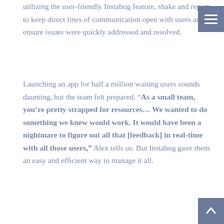utilizing the user-friendly Instabug feature, shake and report, to keep direct lines of communication open with users and ensure issues were quickly addressed and resolved.
Launching an app for half a million waiting users sounds daunting, but the team felt prepared. “As a small team, you’re pretty strapped for resources… We wanted to do something we knew would work. It would have been a nightmare to figure out all that [feedback] in real-time with all those users,” Alex tells us. But Instabug gave them an easy and efficient way to manage it all.